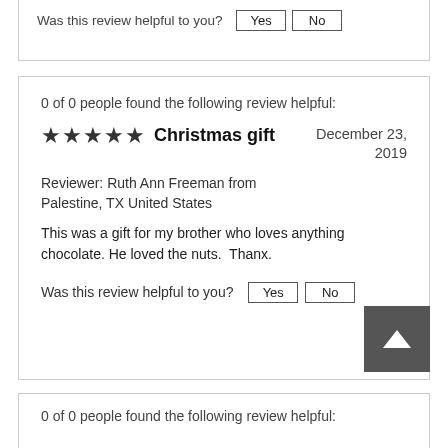Was this review helpful to you?  Yes  No
0 of 0 people found the following review helpful:
Christmas gift
December 23, 2019
Reviewer: Ruth Ann Freeman from Palestine, TX United States
This was a gift for my brother who loves anything chocolate. He loved the nuts.  Thanx.
Was this review helpful to you?  Yes  No
0 of 0 people found the following review helpful: